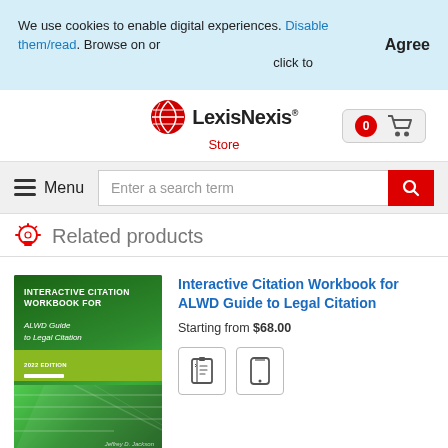We use cookies to enable digital experiences. Disable them/read. Browse on or click to
Agree
[Figure (logo): LexisNexis Store logo with red globe icon]
[Figure (other): Shopping cart icon with 0 badge]
Menu
Enter a search term
Related products
[Figure (photo): Book cover: Interactive Citation Workbook for ALWD Guide to Legal Citation, green cover, 2022 edition]
Interactive Citation Workbook for ALWD Guide to Legal Citation
Starting from $68.00
[Figure (other): Format icons: eBook and tablet format]